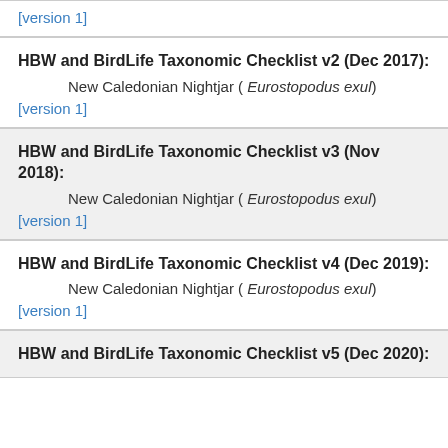[version 1]
HBW and BirdLife Taxonomic Checklist v2 (Dec 2017):
New Caledonian Nightjar ( Eurostopodus exul)
[version 1]
HBW and BirdLife Taxonomic Checklist v3 (Nov 2018):
New Caledonian Nightjar ( Eurostopodus exul)
[version 1]
HBW and BirdLife Taxonomic Checklist v4 (Dec 2019):
New Caledonian Nightjar ( Eurostopodus exul)
[version 1]
HBW and BirdLife Taxonomic Checklist v5 (Dec 2020):